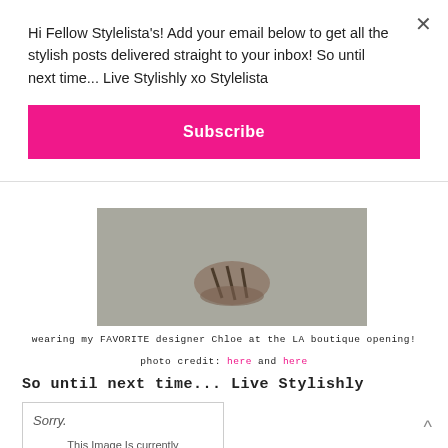Hi Fellow Stylelista's! Add your email below to get all the stylish posts delivered straight to your inbox! So until next time... Live Stylishly xo Stylelista
Subscribe
[Figure (photo): Close-up photo of feet wearing strappy sandals on a grey surface]
wearing my FAVORITE designer Chloe at the LA boutique opening!
photo credit: here and here
So until next time... Live Stylishly
[Figure (other): Photobucket placeholder image with text: Sorry. This Image Is currently Unavailable]